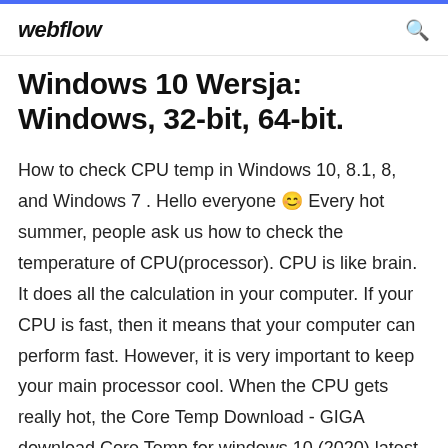webflow
Windows 10 Wersja: Windows, 32-bit, 64-bit.
How to check CPU temp in Windows 10, 8.1, 8, and Windows 7 . Hello everyone 😊 Every hot summer, people ask us how to check the temperature of CPU(processor). CPU is like brain. It does all the calculation in your computer. If your CPU is fast, then it means that your computer can perform fast. However, it is very important to keep your main processor cool. When the CPU gets really hot, the Core Temp Download - GIGA download Core Temp for windows 10 (2020) latest ... Core Temp Download (2020 Latest) for Windows 10, 8, 7